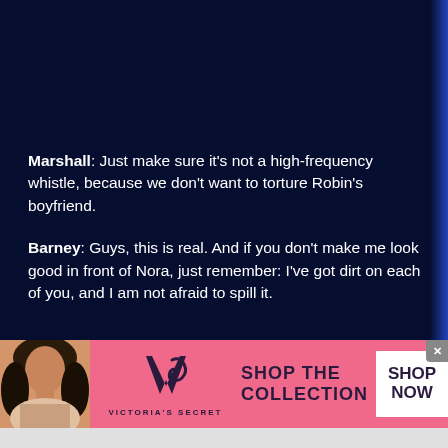Marshall: Just make sure it's not a high-frequency whistle, because we don't want to torture Robin's boyfriend.
Barney: Guys, this is real. And if you don't make me look good in front of Nora, just remember: I've got dirt on each of you, and I am not afraid to spill it.
[Figure (infographic): Victoria's Secret advertisement banner with a model on the left, VS logo in the center, 'SHOP THE COLLECTION' text, and a 'SHOP NOW' button on the right, pink background.]